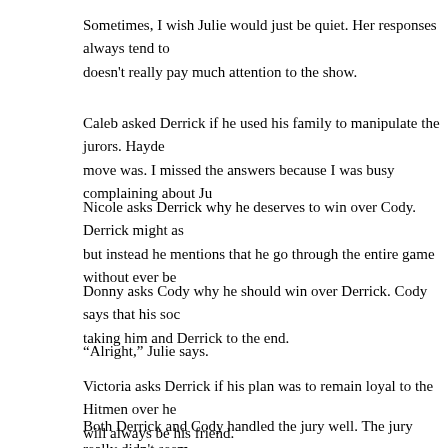Sometimes, I wish Julie would just be quiet.  Her responses always tend to doesn't really pay much attention to the show.
Caleb asked Derrick if he used his family to manipulate the jurors.  Hayde move was.  I missed the answers because I was busy complaining about Ju
Nicole asks Derrick why he deserves to win over Cody.  Derrick might as but instead he mentions that he go through the entire game without ever be
Donny asks Cody why he should win over Derrick. Cody says that his soc taking him and Derrick to the end.
“Alright,” Julie says.
Victoria asks Derrick if his plan was to remain loyal to the Hitmen over he will always be his friend.
Both Derrick and Cody handled the jury well.  The jury really didn't seem feeling that this is going to be either an 8-1 or a 7-2 victory for Derrick.  C for Cody.